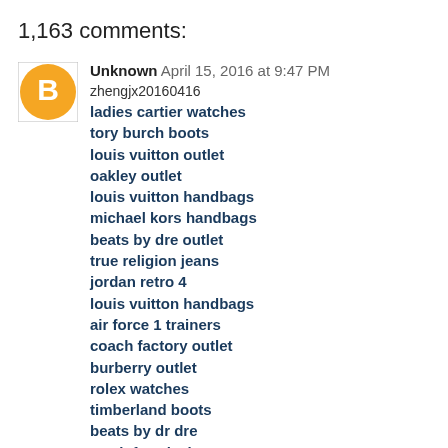1,163 comments:
Unknown  April 15, 2016 at 9:47 PM
zhengjx20160416
ladies cartier watches
tory burch boots
louis vuitton outlet
oakley outlet
louis vuitton handbags
michael kors handbags
beats by dre outlet
true religion jeans
jordan retro 4
louis vuitton handbags
air force 1 trainers
coach factory outlet
burberry outlet
rolex watches
timberland boots
beats by dr dre
north face jackets